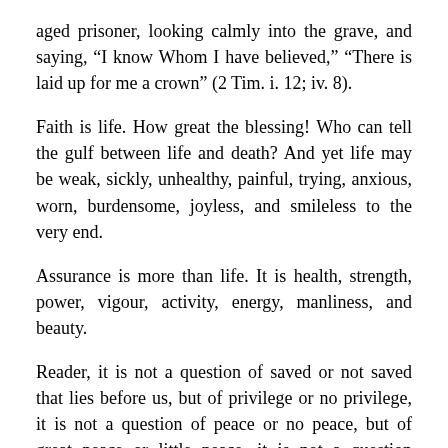aged prisoner, looking calmly into the grave, and saying, “I know Whom I have believed,” “There is laid up for me a crown” (2 Tim. i. 12; iv. 8).
Faith is life. How great the blessing! Who can tell the gulf between life and death? And yet life may be weak, sickly, unhealthy, painful, trying, anxious, worn, burdensome, joyless, and smileless to the very end.
Assurance is more than life. It is health, strength, power, vigour, activity, energy, manliness, and beauty.
Reader, it is not a question of saved or not saved that lies before us, but of privilege or no privilege, it is not a question of peace or no peace, but of great peace or little peace, it is not a question between the wanderers of this world and the school of Christ, it is one that belongs only to the school, it is between the first form and the last.